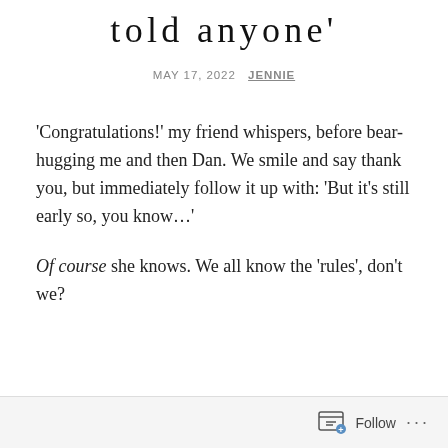told anyone'
MAY 17, 2022  JENNIE
'Congratulations!' my friend whispers, before bear-hugging me and then Dan. We smile and say thank you, but immediately follow it up with: 'But it's still early so, you know…'
Of course she knows. We all know the 'rules', don't we?
Follow